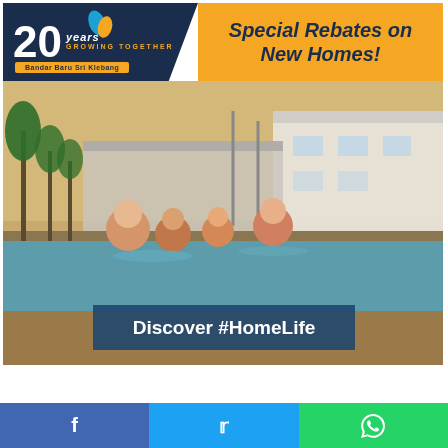[Figure (infographic): Advertisement banner for Bandar Baru Sri Klebang. Top left: dark navy section with '20 years growing together' logo with leaf icons. Top right: orange section with italic text 'Special Rebates on New Homes!'. Main image: family of four at a swimming pool with palm trees and a building in the background. Blue banner overlay reads 'Discover #HomeLife'. Bottom: dark footer bar with scroll-up button. Social share buttons: Facebook (blue), Twitter (light blue), WhatsApp (green).]